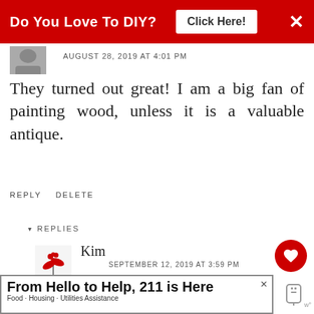[Figure (screenshot): Red banner ad at top: 'Do You Love To DIY? Click Here!' with X close button]
AUGUST 28, 2019 AT 4:01 PM
They turned out great! I am a big fan of painting wood, unless it is a valuable antique.
REPLY  DELETE
▾  REPLIES
Kim
SEPTEMBER 12, 2019 AT 3:59 PM
I agree 100% , Penny wise words!
DELETE
[Figure (infographic): What's Next panel with thumbnail and text 'A Simple Wooden...']
[Figure (screenshot): Bottom advertisement: 'From Hello to Help, 211 is Here' - Food · Housing · Utilities Assistance]